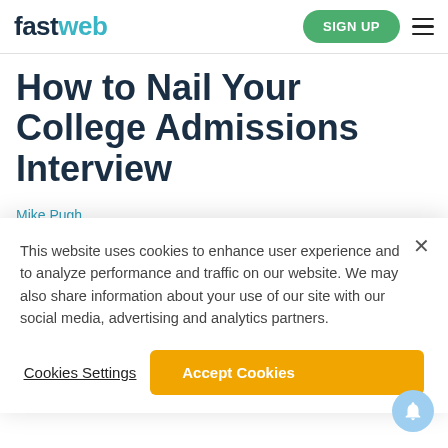fastweb — SIGN UP
How to Nail Your College Admissions Interview
Mike Pugh
June 03, 2008
This website uses cookies to enhance user experience and to analyze performance and traffic on our website. We may also share information about your use of our site with our social media, advertising and analytics partners.
Cookies Settings
Accept Cookies